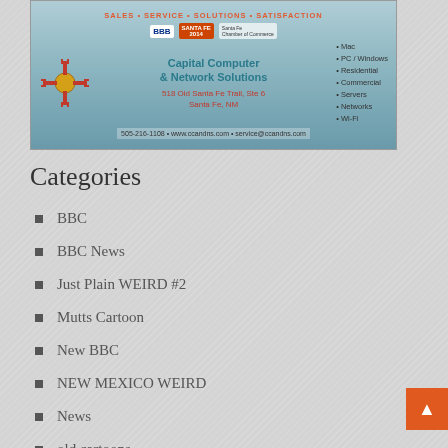[Figure (illustration): Capital Computer & Network Solutions advertisement banner with teal/blue gradient background, Zia sun symbol, BBB and chamber logos, company name, address 518 Old Santa Fe Trail Ste 6, Santa Fe NM, phone 505-216-1108, website www.ccandns.com, email service@ccandns.com, services listed: Mac, PC/Windows, Residential, Commercial, Servers, Networks, Wi-Fi]
Categories
BBC
BBC News
Just Plain WEIRD #2
Mutts Cartoon
New BBC
NEW MEXICO WEIRD
News
old cartoons
SCAM Alerts
slider